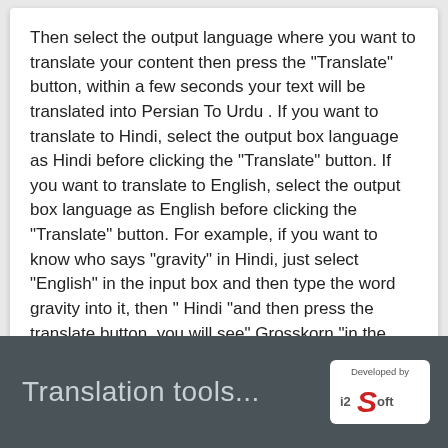Then select the output language where you want to translate your content then press the "Translate" button, within a few seconds your text will be translated into Persian To Urdu . If you want to translate to Hindi, select the output box language as Hindi before clicking the "Translate" button. If you want to translate to English, select the output box language as English before clicking the "Translate" button. For example, if you want to know who says "gravity" in Hindi, just select "English" in the input box and then type the word gravity into it, then " Hindi "and then press the translate button, you will see" Grosskorn "in the output box. Translate like...
Translation tools...